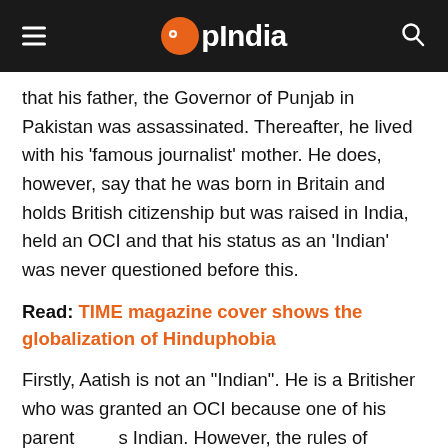OpIndia
that his father, the Governor of Punjab in Pakistan was assassinated. Thereafter, he lived with his 'famous journalist' mother. He does, however, say that he was born in Britain and holds British citizenship but was raised in India, held an OCI and that his status as an 'Indian' was never questioned before this.
Read: TIME magazine cover shows the globalization of Hinduphobia
Firstly, Aatish is not an "Indian". He is a Britisher who was granted an OCI because one of his parents is Indian. However, the rules of acquiring an OCI are rather clear. On the OCI website itself, the rules mention that none of the parents should be or should